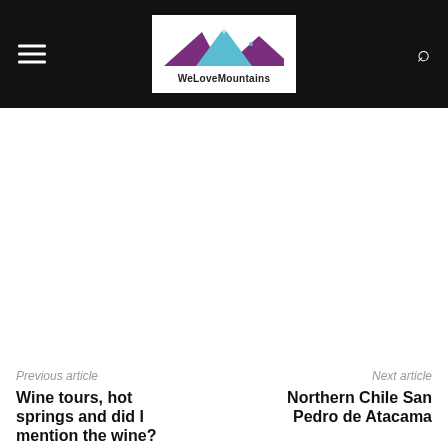WeLoveMountains
[Figure (other): White blank content area below navigation bar]
Previous article
Wine tours, hot springs and did I mention the wine? Mendoza, Argentina
Next article
Northern Chile San Pedro de Atacama